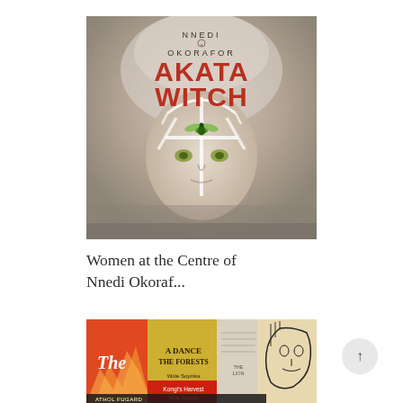[Figure (photo): Book cover of 'Akata Witch' by Nnedi Okorafor. Shows a young woman's face with glowing green eyes and a green insect on her forehead, with mystical white symbols. Title in large red letters, author name in small caps at top.]
Women at the Centre of Nnedi Okoraf...
[Figure (photo): A collage of African literary book covers including 'A Dance of the Forests' by Wole Soyinka, 'Kongi's Harvest' by Wole Soyinka, and other works by Athol Fugard and others, with orange, yellow, red, and black cover designs.]